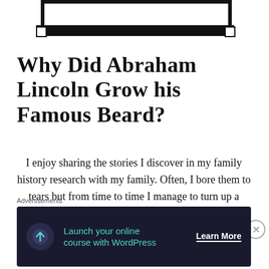[Figure (other): Decorative header bar with black border and corner squares]
Why Did Abraham Lincoln Grow his Famous Beard?
I enjoy sharing the stories I discover in my family history research with my family. Often, I bore them to tears but from time to time I manage to turn up a tidbit of information that sticks. For my youngest son learning that we are distant cousins to Abraham Lincoln is that detail that stuck. He loves telling
Advertisements
[Figure (infographic): Advertisement banner: Launch your online course with WordPress — Learn More]